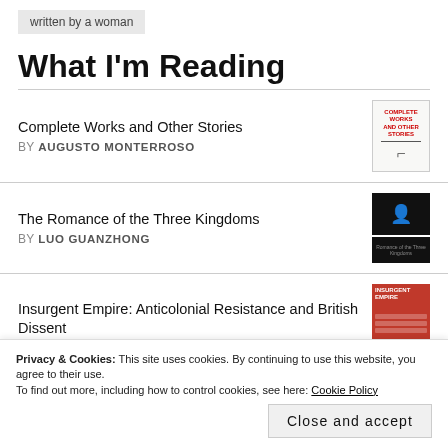written by a woman
What I'm Reading
Complete Works and Other Stories BY AUGUSTO MONTERROSO
The Romance of the Three Kingdoms BY LUO GUANZHONG
Insurgent Empire: Anticolonial Resistance and British Dissent
Privacy & Cookies: This site uses cookies. By continuing to use this website, you agree to their use. To find out more, including how to control cookies, see here: Cookie Policy
Close and accept